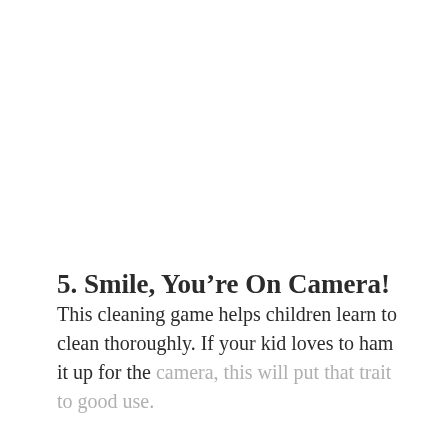5. Smile, You're On Camera!
This cleaning game helps children learn to clean thoroughly. If your kid loves to ham it up for the camera, this will put that trait to good use.